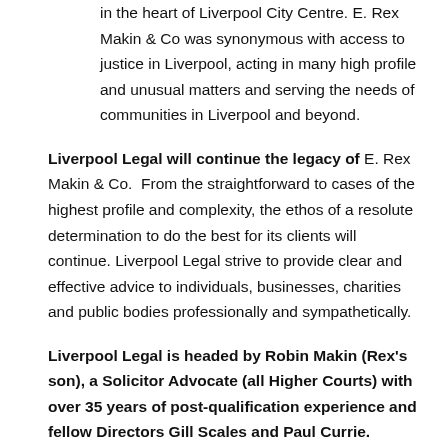in the heart of Liverpool City Centre. E. Rex Makin & Co was synonymous with access to justice in Liverpool, acting in many high profile and unusual matters and serving the needs of communities in Liverpool and beyond.
Liverpool Legal will continue the legacy of E. Rex Makin & Co. From the straightforward to cases of the highest profile and complexity, the ethos of a resolute determination to do the best for its clients will continue. Liverpool Legal strive to provide clear and effective advice to individuals, businesses, charities and public bodies professionally and sympathetically.
Liverpool Legal is headed by Robin Makin (Rex's son), a Solicitor Advocate (all Higher Courts) with over 35 years of post-qualification experience and fellow Directors Gill Scales and Paul Currie.
Policies